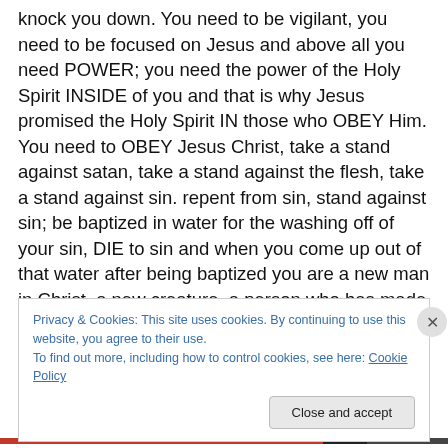knock you down. You need to be vigilant, you need to be focused on Jesus and above all you need POWER; you need the power of the Holy Spirit INSIDE of you and that is why Jesus promised the Holy Spirit IN those who OBEY Him. You need to OBEY Jesus Christ, take a stand against satan, take a stand against the flesh, take a stand against sin. repent from sin, stand against sin; be baptized in water for the washing off of your sin, DIE to sin and when you come up out of that water after being baptized you are a new man in Christ, a new creature, a person who has made up his mind to struggle and to fight and to overcome
Privacy & Cookies: This site uses cookies. By continuing to use this website, you agree to their use.
To find out more, including how to control cookies, see here: Cookie Policy